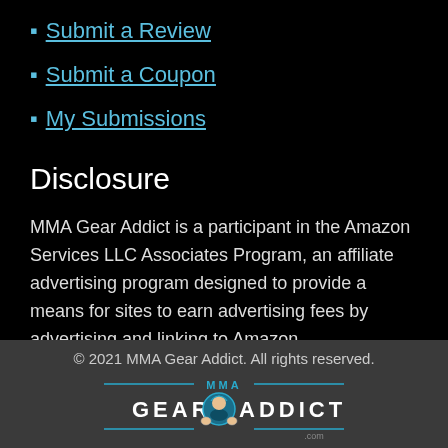Submit a Review
Submit a Coupon
My Submissions
Disclosure
MMA Gear Addict is a participant in the Amazon Services LLC Associates Program, an affiliate advertising program designed to provide a means for sites to earn advertising fees by advertising and linking to Amazon.
© 2021 MMA Gear Addict. All rights reserved.
[Figure (logo): MMA Gear Addict logo with fighter illustration and cyan/white lettering on dark footer background]